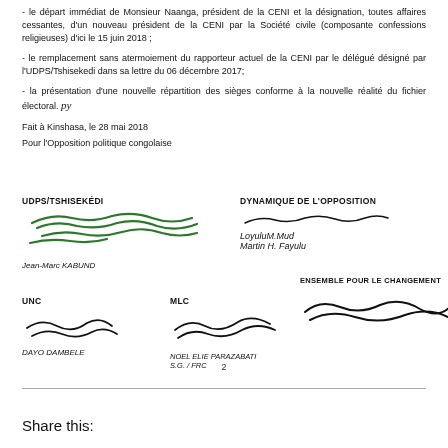- le départ immédiat de Monsieur Naanga, président de la CENI et la désignation, toutes affaires cessantes, d'un nouveau président de la CENI par la Société civile (composante confessions religieuses) d'ici le 15 juin 2018 ;
- le remplacement sans atermoiement du rapporteur actuel de la CENI par le délégué désigné par l'UDPS/Tshisekedi dans sa lettre du 06 décembre 2017;
- la présentation d'une nouvelle répartition des sièges conforme à la nouvelle réalité du fichier électoral.
Fait à Kinshasa, le 28 mai 2018
Pour l'Opposition politique congolaise
[Figure (other): Signature block with multiple party signatures: UDPS/TSHISEKEDI (Jean-Marc KABUND), DYNAMIQUE DE L'OPPOSITION (Martin H. FAYULU), UNC (DAYO DAMBELE), MLC (NOEL ELIE PARAZABATI S.G./FRC), ENSEMBLE POUR LE CHANGEMENT]
2
Share this: